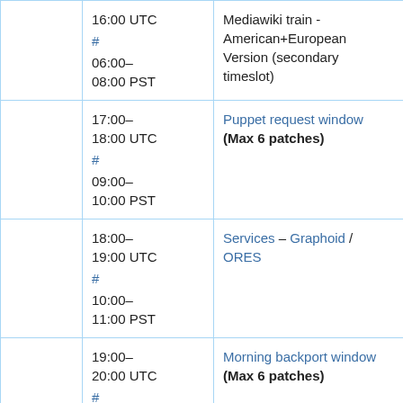| (gray) | Time | Event | Details |
| --- | --- | --- | --- |
|  | 16:00 UTC
#
06:00–08:00 PST | Mediawiki train - American+European Version (secondary timeslot) | J A |
|  | 17:00–18:00 UTC
#
09:00–10:00 PST | Puppet request window
(Max 6 patches) | J C |
|  | 18:00–19:00 UTC
#
10:00–11:00 PST | Services – Graphoid / ORES | C A |
|  | 19:00–20:00 UTC
#
11:00– | Morning backport window
(Max 6 patches) | P ( M |